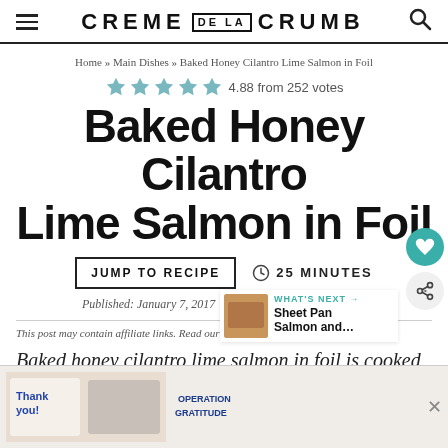CREME DE LA CRUMB
Home » Main Dishes » Baked Honey Cilantro Lime Salmon in Foil
4.88 from 252 votes
Baked Honey Cilantro Lime Salmon in Foil
JUMP TO RECIPE  25 MINUTES
Published: January 7, 2017   Updated: February 16, 2022
This post may contain affiliate links. Read our disclosure policy.
Baked honey cilantro lime salmon in foil is cooked to tender, flaky perfection and bursting with bright, fresh flavors.